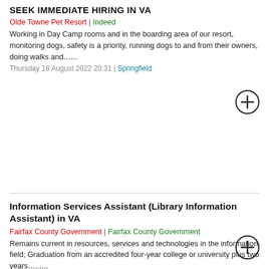SEEK IMMEDIATE HIRING IN VA
Olde Towne Pet Resort | Indeed
Working in Day Camp rooms and in the boarding area of our resort, monitoring dogs, safety is a priority, running dogs to and from their owners, doing walks and…...
Thursday 18 August 2022 20:31 | Springfield
Information Services Assistant (Library Information Assistant) in VA
Fairfax County Government | Fairfax County Government
Remains current in resources, services and technologies in the information field; Graduation from an accredited four-year college or university plus two years…......
Saturday 20 August 2022 08:18 | Fairfax